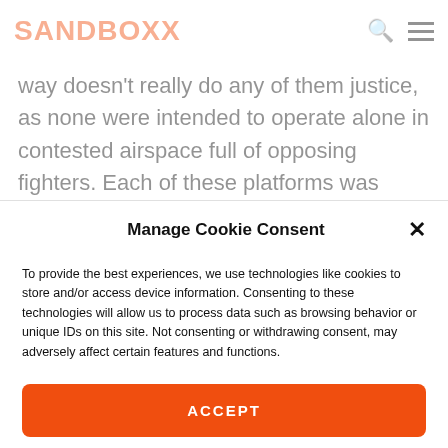SANDBOXX
way doesn't really do any of them justice, as none were intended to operate alone in contested airspace full of opposing fighters. Each of these platforms was developed to fill a role within a broader force structure and strategy, and as such, are
Manage Cookie Consent
To provide the best experiences, we use technologies like cookies to store and/or access device information. Consenting to these technologies will allow us to process data such as browsing behavior or unique IDs on this site. Not consenting or withdrawing consent, may adversely affect certain features and functions.
ACCEPT
Opt-out preferences   Privacy Policy